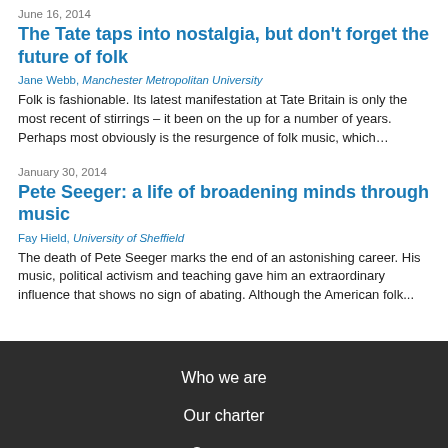June 16, 2014
The Tate taps into nostalgia, but don't forget the future of folk
Jane Webb, Manchester Metropolitan University
Folk is fashionable. Its latest manifestation at Tate Britain is only the most recent of stirrings – it been on the up for a number of years. Perhaps most obviously is the resurgence of folk music, which…
January 30, 2014
Pete Seeger: a life of broadening minds through music
Fay Hield, University of Sheffield
The death of Pete Seeger marks the end of an astonishing career. His music, political activism and teaching gave him an extraordinary influence that shows no sign of abating. Although the American folk...
Who we are
Our charter
Our team
Partners and funders